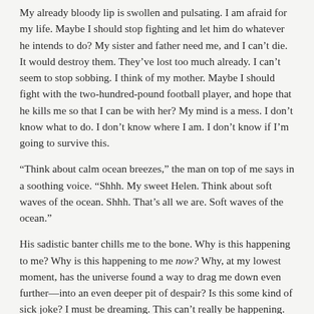My already bloody lip is swollen and pulsating. I am afraid for my life. Maybe I should stop fighting and let him do whatever he intends to do? My sister and father need me, and I can't die. It would destroy them. They've lost too much already. I can't seem to stop sobbing. I think of my mother. Maybe I should fight with the two-hundred-pound football player, and hope that he kills me so that I can be with her? My mind is a mess. I don't know what to do. I don't know where I am. I don't know if I'm going to survive this.
“Think about calm ocean breezes,” the man on top of me says in a soothing voice. “Shhh. My sweet Helen. Think about soft waves of the ocean. Shhh. That’s all we are. Soft waves of the ocean.”
His sadistic banter chills me to the bone. Why is this happening to me? Why is this happening to me now? Why, at my lowest moment, has the universe found a way to drag me down even further—into an even deeper pit of despair? Is this some kind of sick joke? I must be dreaming. This can’t really be happening. But his thumb and forefinger continue to press down painfully on either side of my windpipe. I gasp for breath as he steals the life away from me. This is very real.